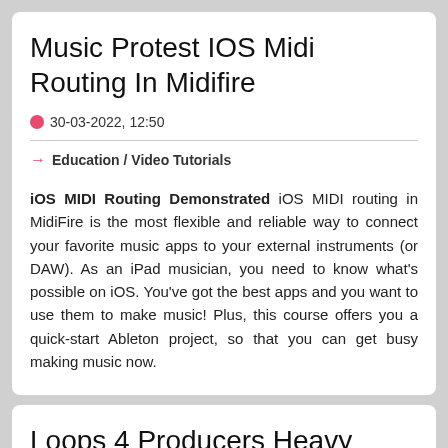Music Protest IOS Midi Routing In Midifire
30-03-2022, 12:50
Education / Video Tutorials
iOS MIDI Routing Demonstrated iOS MIDI routing in MidiFire is the most flexible and reliable way to connect your favorite music apps to your external instruments (or DAW). As an iPad musician, you need to know what's possible on iOS. You've got the best apps and you want to use them to make music! Plus, this course offers you a quick-start Ableton project, so that you can get busy making music now.
Loops 4 Producers Heavy Hitters D&B Vol 5